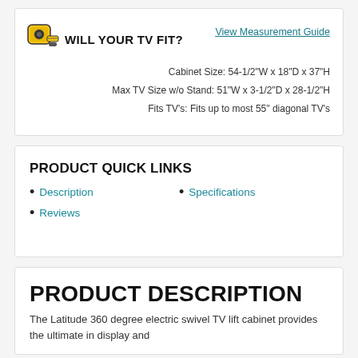WILL YOUR TV FIT?
View Measurement Guide
Cabinet Size: 54-1/2"W x 18"D x 37"H
Max TV Size w/o Stand: 51"W x 3-1/2"D x 28-1/2"H
Fits TV's: Fits up to most 55" diagonal TV's
PRODUCT QUICK LINKS
Description
Reviews
Specifications
PRODUCT DESCRIPTION
The Latitude 360 degree electric swivel TV lift cabinet provides the ultimate in display and...